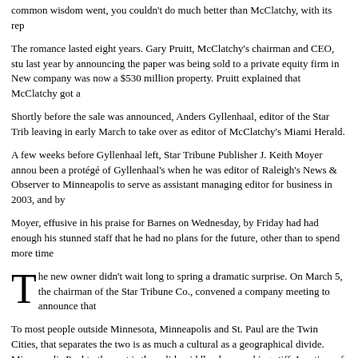common wisdom went, you couldn't do much better than McClatchy, with its rep
The romance lasted eight years. Gary Pruitt, McClatchy's chairman and CEO, stunned the public last year by announcing the paper was being sold to a private equity firm in New York. The company was now a $530 million property. Pruitt explained that McClatchy got a...
Shortly before the sale was announced, Anders Gyllenhaal, editor of the Star Tribune, announced leaving in early March to take over as editor of McClatchy's Miami Herald.
A few weeks before Gyllenhaal left, Star Tribune Publisher J. Keith Moyer announced... been a protégé of Gyllenhaal's when he was editor of Raleigh's News & Observer... to Minneapolis to serve as assistant managing editor for business in 2003, and by...
Moyer, effusive in his praise for Barnes on Wednesday, by Friday had had enough... his stunned staff that he had no plans for the future, other than to spend more time...
The new owner didn't wait long to spring a dramatic surprise. On March 5, the chairman of the Star Tribune Co., convened a company meeting to announce that...
To most people outside Minnesota, Minneapolis and St. Paul are the Twin Cities, that separates the two is as much a cultural as a geographical divide. Minneapolis... Paul to the east is the solid, middle-class working stiff. In a time of tremendous pressure... Pioneer Press cling to distinct identities and remain bitter competitors.